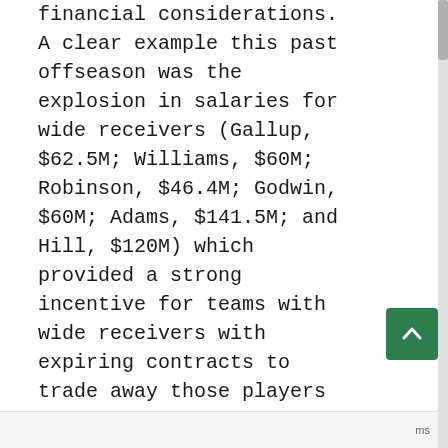financial considerations. A clear example this past offseason was the explosion in salaries for wide receivers (Gallup, $62.5M; Williams, $60M; Robinson, $46.4M; Godwin, $60M; Adams, $141.5M; and Hill, $120M) which provided a strong incentive for teams with wide receivers with expiring contracts to trade away those players to select wide receivers in this year's draft.  Since players selected in the draft have artificially lower salaries than they would on the free market, teams have a strong incentive to replace expensive veteran players with cheaper drafted players. If a team evaluates talent well, this can provide significant savings without a corresponding decrease in productivity on the field. Two examples of this type of behavior in this year's draft were the Tennessee Titans trading away A.J. Brown and the Baltimore Ravens trading away Marquise Brown.
Ultimately evaluating the many positions of